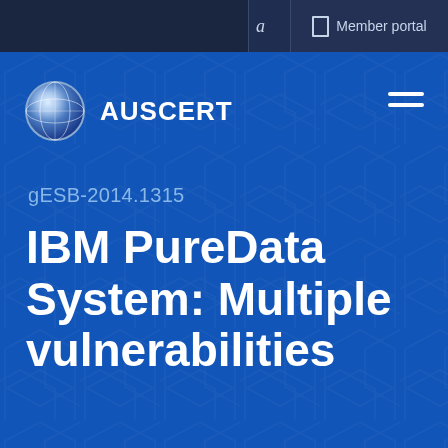a  Member portal
[Figure (logo): AusCERT globe logo with AUSCERT text]
gESB-2014.1315
IBM PureData System: Multiple vulnerabilities